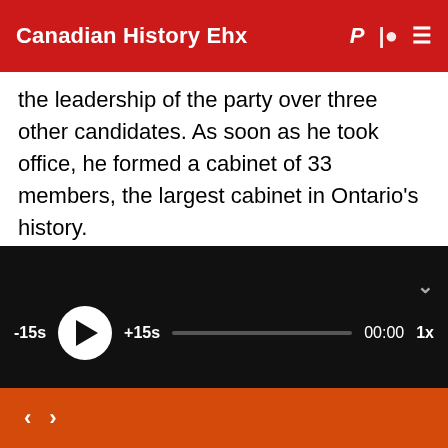Canadian History Ehx
the leadership of the party over three other candidates. As soon as he took office, he formed a cabinet of 33 members, the largest cabinet in Ontario's history.
Soon after, he called an election, which many were surprised about since he had only been leader for a few months by that point. He had plenty of experience, serving in the legislature since 1971 and had...